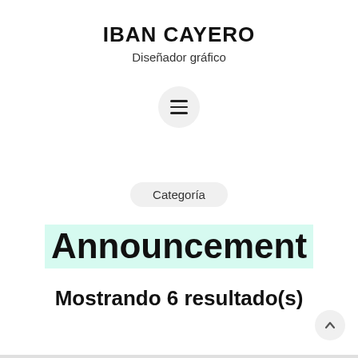IBAN CAYERO
Diseñador gráfico
[Figure (other): Hamburger menu button: three horizontal lines inside a circular light gray button]
Categoría
Announcement
Mostrando 6 resultado(s)